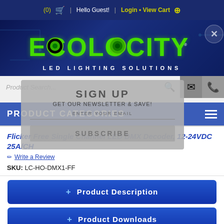(0) cart | Hello Guest! | Login • View Cart +
[Figure (logo): Ecolocity LED Lighting Solutions logo with green text on dark blue background with circuit board pattern]
[Figure (screenshot): Website interface showing Product Search bar with email and phone icons, and a Sign Up overlay with newsletter subscription form saying GET OUR NEWSLETTER & SAVE!, with email input field and SUBSCRIBE button]
PRODUCT CATEGORIES
Flicker Free Single Channel LED DMX Decoder, 12-24VDC 25A/CH
Write a Review
SKU: LC-HO-DMX1-FF
+ Product Description
+ Product Downloads
+ Product Specifications